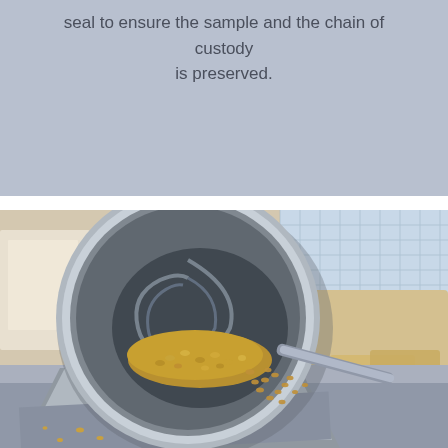seal to ensure the sample and the chain of custody is preserved.
[Figure (photo): A stainless steel bowl or container pouring golden grain seeds (wheat or similar) onto a flat surface, with sample bags visible in the background and a window with mesh screen. Laboratory or grain testing environment.]